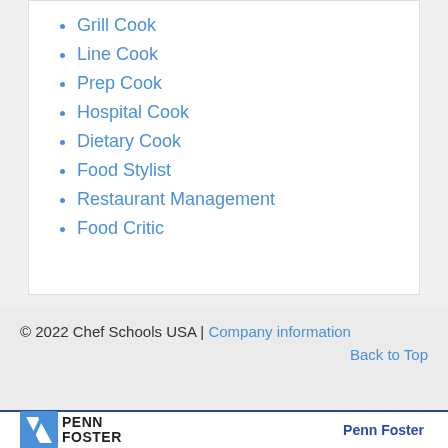Grill Cook
Line Cook
Prep Cook
Hospital Cook
Dietary Cook
Food Stylist
Restaurant Management
Food Critic
© 2022 Chef Schools USA | Company information
Back to Top
[Figure (logo): Penn Foster logo with diagonal slash icon and bold PENN FOSTER text, plus Penn Foster label on the right]